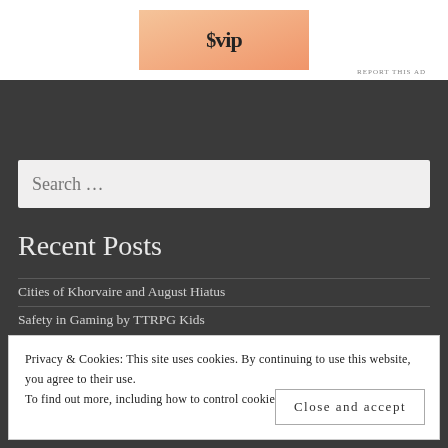[Figure (other): WordPress VIP advertisement banner with orange gradient background]
REPORT THIS AD
Search …
Recent Posts
Cities of Khorvaire and August Hiatus
Safety in Gaming by TTRPG Kids
Privacy & Cookies: This site uses cookies. By continuing to use this website, you agree to their use.
To find out more, including how to control cookies, see here: Cookie Policy
Close and accept